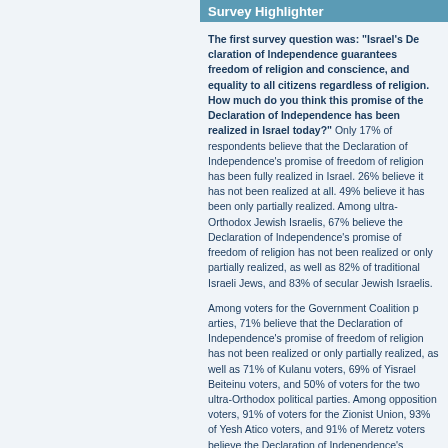Survey Highlighter
The first survey question was: "Israel's Declaration of Independence guarantees freedom of religion and conscience, and equality to all citizens regardless of religion. How much do you think this promise of the Declaration of Independence has been realized in Israel today?" Only 17% of respondents believe that the Declaration of Independence's promise of freedom of religion has been fully realized in Israel. 26% believe it has not been realized at all. 49% believe it has been only partially realized. Among ultra-Orthodox Jewish Israelis, 67% believe the Declaration of Independence's promise of freedom of religion has not been realized or only partially realized, as well as 82% of traditional Israeli Jews, and 83% of secular Jewish Israelis.
Among voters for the Government Coalition parties, 71% believe that the Declaration of Independence's promise of freedom of religion has not been realized or only partially realized, as well as 71% of Kulanu voters, 69% of Yisrael Beiteinu voters, and 50% of voters for the two ultra-Orthodox political parties. Among opposition voters, 91% of voters for the Zionist Union, 93% of Yesh Atid voters, and 91% of Meretz voters believe the Declaration of Independence's promise of freedom of religion has not been realized or only partially realized in Israel.
The second survey question was: "Do you support or oppose the full realization of the Declaration of Independence's promise of freedom of religion?" 66% support full realization of this promise, of which 34% strongly support full realization. Only 17% claim that this promise of the Declaration of Independence has already been fully realized, and an additional 6% oppose the full realization of this promise.